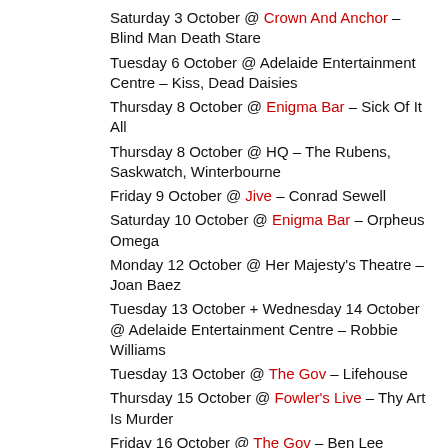Saturday 3 October @ Crown And Anchor – Blind Man Death Stare
Tuesday 6 October @ Adelaide Entertainment Centre – Kiss, Dead Daisies
Thursday 8 October @ Enigma Bar – Sick Of It All
Thursday 8 October @ HQ – The Rubens, Saskwatch, Winterbourne
Friday 9 October @ Jive – Conrad Sewell
Saturday 10 October @ Enigma Bar – Orpheus Omega
Monday 12 October @ Her Majesty's Theatre – Joan Baez
Tuesday 13 October + Wednesday 14 October @ Adelaide Entertainment Centre – Robbie Williams
Tuesday 13 October @ The Gov – Lifehouse
Thursday 15 October @ Fowler's Live – Thy Art Is Murder
Friday 16 October @ The Gov – Ben Lee
Friday 16 October @ Crown and Anchor – Space Junk
Saturday 17 October @ Crown & Anchor – Born Lion
Saturday 17 October @ The Gov – Laura Marling
(FEATURED)